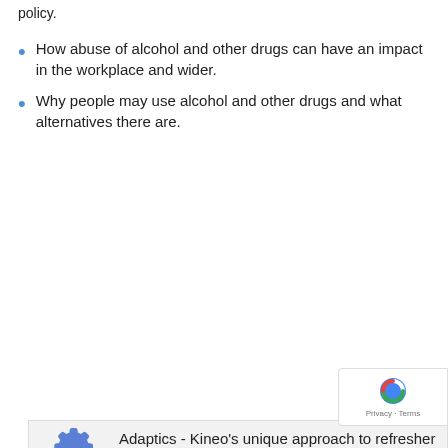policy.
How abuse of alcohol and other drugs can have an impact in the workplace and wider.
Why people may use alcohol and other drugs and what alternatives there are.
| Icon | Feature |
| --- | --- |
| [gear icon] | Adaptics - Kineo's unique approach to refresher training |
| [headphones icon] | Professional Audio |
| [gamepad icon] | Animation and interactivity |
| [keyboard icon] | WCAG 2.0 accessibility |